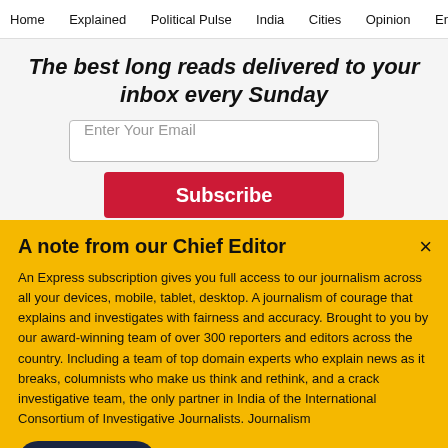Home | Explained | Political Pulse | India | Cities | Opinion | Entertainment
The best long reads delivered to your inbox every Sunday
Enter Your Email
Subscribe
A note from our Chief Editor
An Express subscription gives you full access to our journalism across all your devices, mobile, tablet, desktop. A journalism of courage that explains and investigates with fairness and accuracy. Brought to you by our award-winning team of over 300 reporters and editors across the country. Including a team of top domain experts who explain news as it breaks, columnists who make us think and rethink, and a crack investigative team, the only partner in India of the International Consortium of Investigative Journalists. Journalism
Buy Now →